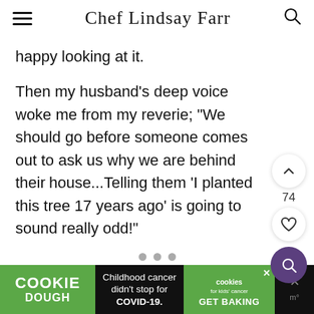Chef Lindsay Farr
happy looking at it.
Then my husband’s deep voice woke me from my reverie; "We should go before someone comes out to ask us why we are behind their house...Telling them 'I planted this tree 17 years ago' is going to sound really odd!"
[Figure (screenshot): Cookie Dough advertisement banner: 'Childhood cancer didn’t stop for COVID-19. GET BAKING' with Cookie Dough and cookies for kids’ cancer logos]